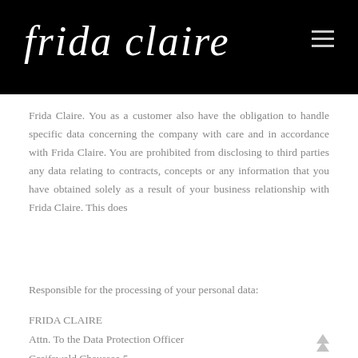frida claire
Frida Claire. You as a customer also have the obligation to handle specific data concerning the company with care and in accordance with Frida Claire. You are prohibited from disclosing to third parties any data relating to contracts, concepts or any information that you have obtained solely as a result of your business relationship with Frida Claire. This does
Responsible for the processing of your personal data:
FRIDA CLAIRE
Attn. To the Data Protection Officer
Greifswald Chaussee 5
18439 Stralsund